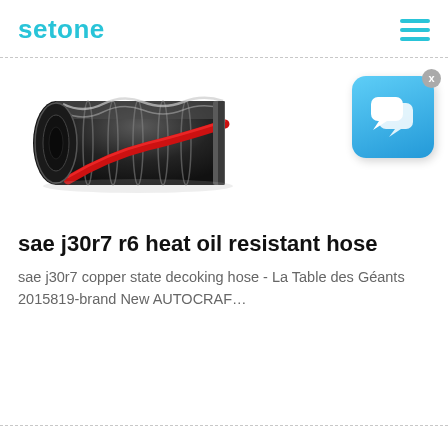setone
[Figure (photo): A black rubber hose with a red stripe, shown at an angle, depicting an SAE J30R7 R6 heat oil resistant hose.]
[Figure (screenshot): A blue rounded-square chat/messaging app icon with two overlapping speech bubble icons in white, with a small grey X button in the top-right corner.]
sae j30r7 r6 heat oil resistant hose
sae j30r7 copper state decoking hose - La Table des Géants 2015819-brand New AUTOCRAF…